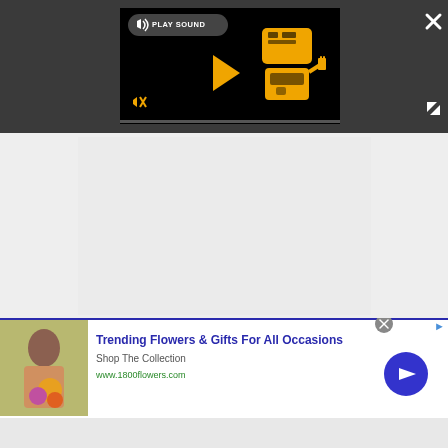[Figure (screenshot): Video player overlay on dark grey background with 'PLAY SOUND' button, play triangle icon, muted speaker icon, robot/blender mascot icon in yellow, close (X) button top right, and expand arrows bottom right.]
[Figure (screenshot): Light grey content area placeholder below the video player overlay.]
[Figure (screenshot): Advertisement banner for '1800flowers.com' showing a woman holding flowers, bold blue text 'Trending Flowers & Gifts For All Occasions', subtitle 'Shop The Collection', URL 'www.1800flowers.com', a blue circular arrow button, close button, and ad info icon.]